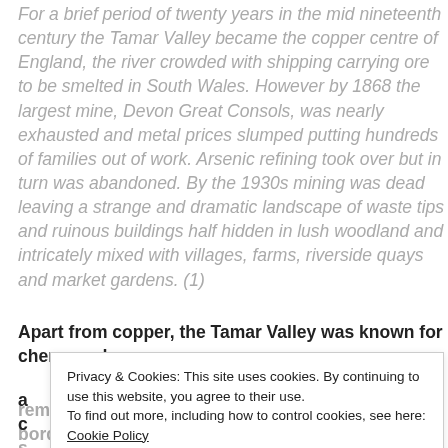For a brief period of twenty years in the mid nineteenth century the Tamar Valley became the copper centre of England, the river crowded with shipping carrying ore to be smelted in South Wales. However by 1868 the largest mine, Devon Great Consols, was nearly exhausted and metal prices slumped putting hundreds of families out of work. Arsenic refining took over but in turn was abandoned. By the 1930s mining was dead leaving a strange and dramatic landscape of waste tips and ruinous buildings half hidden in lush woodland and intricately mixed with villages, farms, riverside quays and market gardens. (1)
Apart from copper, the Tamar Valley was known for cherry and
remnants now long forgotten in hedgerows and bordering